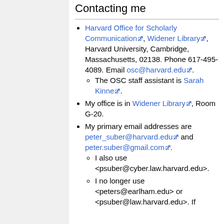Contacting me
Harvard Office for Scholarly Communication, Widener Library, Harvard University, Cambridge, Massachusetts, 02138. Phone 617-495-4089. Email osc@harvard.edu.
The OSC staff assistant is Sarah Kinne.
My office is in Widener Library, Room G-20.
My primary email addresses are peter_suber@harvard.edu and peter.suber@gmail.com.
I also use <psuber@cyber.law.harvard.edu>.
I no longer use <peters@earlham.edu> or <psuber@law.harvard.edu>. If